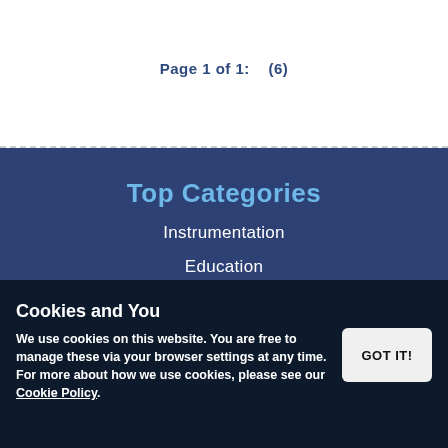Page 1 of 1:    (6)
Top Categories
Instrumentation
Education
Models & Charts
Hygiene & Safety
Lab Essentials
Cookies and You
We use cookies on this website. You are free to manage these via your browser settings at any time. For more about how we use cookies, please see our Cookie Policy.